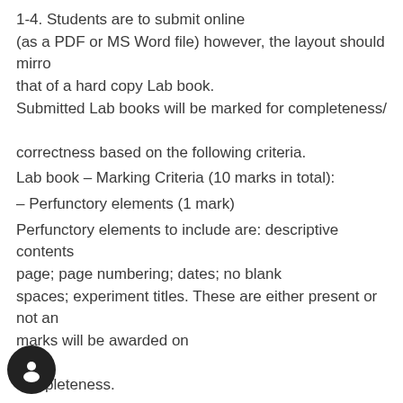1-4. Students are to submit online (as a PDF or MS Word file) however, the layout should mirror that of a hard copy Lab book. Submitted Lab books will be marked for completeness/correctness based on the following criteria.
Lab book – Marking Criteria (10 marks in total):
– Perfunctory elements (1 mark)
Perfunctory elements to include are: descriptive contents page; page numbering; dates; no blank spaces; experiment titles. These are either present or not and marks will be awarded on completeness.
– Completion of specific questions associated with practicals (2 marks)
Answer all questions shown in the Practical manual for either practical 2 or 3. Marks will be